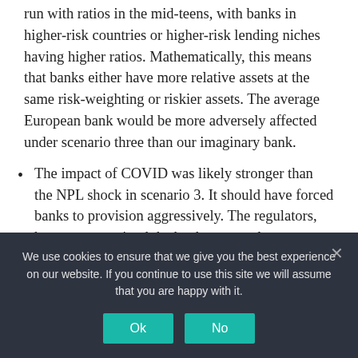run with ratios in the mid-teens, with banks in higher-risk countries or higher-risk lending niches having higher ratios. Mathematically, this means that banks either have more relative assets at the same risk-weighting or riskier assets. The average European bank would be more adversely affected under scenario three than our imaginary bank.
The impact of COVID was likely stronger than the NPL shock in scenario 3. It should have forced banks to provision aggressively. The regulators, however, permitted the banks to treat loans
We use cookies to ensure that we give you the best experience on our website. If you continue to use this site we will assume that you are happy with it.